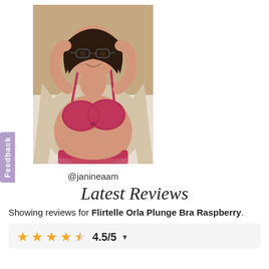[Figure (photo): Photo of a person wearing a pink/raspberry colored bra and underwear set with a cream cardigan, smiling at camera, with glasses]
@janineaam
Latest Reviews
Showing reviews for Flirtelle Orla Plunge Bra Raspberry.
4.5/5